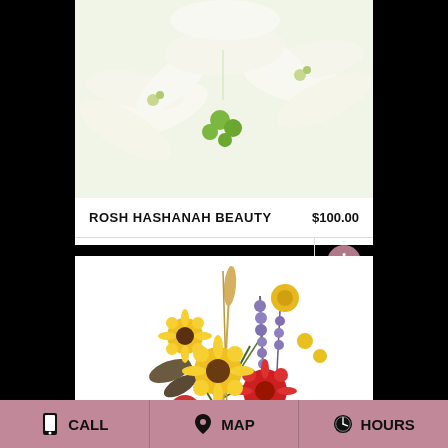[Figure (photo): White lily flowers with green accents on white background]
ROSH HASHANAH BEAUTY   $100.00
BUY NOW
[Figure (photo): Colorful wildflower bouquet with sunflowers, red gerberas, purple delphinium, yellow flowers, and greenery on white background]
CALL   MAP   HOURS